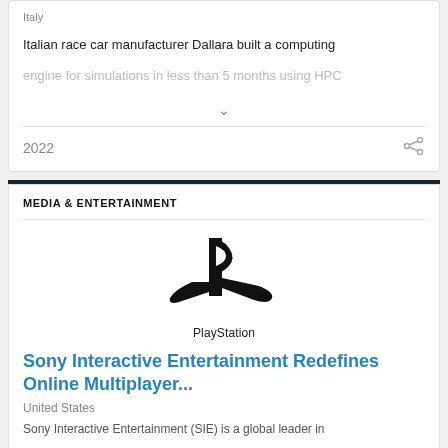Italy
Italian race car manufacturer Dallara built a computing engine for simulations in less than 5 months using HPC
2022
MEDIA & ENTERTAINMENT
[Figure (logo): PlayStation logo — stylized P and D shapes forming the PlayStation symbol, with 'PlayStation' wordmark below]
Sony Interactive Entertainment Redefines Online Multiplayer...
United States
Sony Interactive Entertainment (SIE) is a global leader in